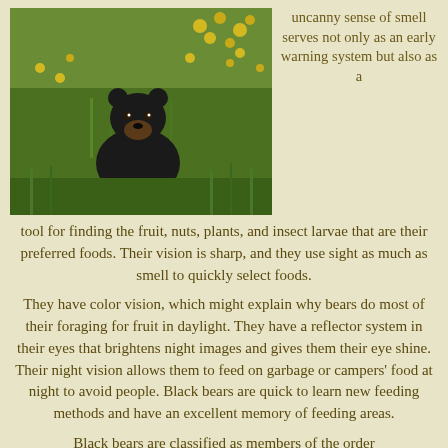[Figure (photo): A black bear standing in a field of green grass and yellow wildflowers, looking toward the camera.]
uncanny sense of smell serves not only as an early warning system but also as a tool for finding the fruit, nuts, plants, and insect larvae that are their preferred foods. Their vision is sharp, and they use sight as much as smell to quickly select foods.
They have color vision, which might explain why bears do most of their foraging for fruit in daylight. They have a reflector system in their eyes that brightens night images and gives them their eye shine. Their night vision allows them to feed on garbage or campers' food at night to avoid people. Black bears are quick to learn new feeding methods and have an excellent memory of feeding areas.
Black bears are classified as members of the order